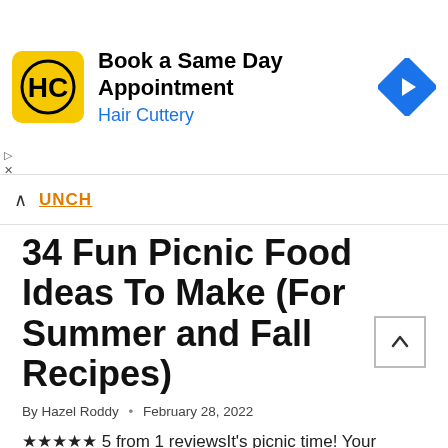[Figure (infographic): Hair Cuttery advertisement banner with yellow logo, 'Book a Same Day Appointment' heading, 'Hair Cuttery' subtext in blue, and a blue diamond navigation arrow icon on the right]
UNCH
34 Fun Picnic Food Ideas To Make (For Summer and Fall Recipes)
By Hazel Roddy • February 28, 2022
★★★★★ 5 from 1 reviewsIt's picnic time! Your blanket is prepared, your cooler is ready, and you can't wait to get outside. All you need